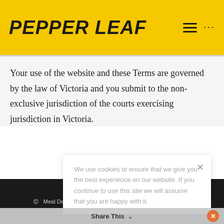[Figure (logo): Pepper Leaf logo in black italic bold uppercase text on yellow background]
Your use of the website and these Terms are governed by the law of Victoria and you submit to the non-exclusive jurisdiction of the courts exercising jurisdiction in Victoria.
We use cookies to ensure that we give you the best experience on our website. If you continue to use this site we will assume that you are happy with it.
Ok, got it!
© Meal Delivery Healthy Food Delivery Healthy Food Boxes
Share This